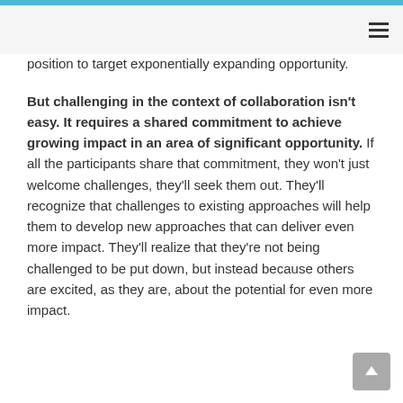position to target exponentially expanding opportunity.
But challenging in the context of collaboration isn't easy. It requires a shared commitment to achieve growing impact in an area of significant opportunity. If all the participants share that commitment, they won't just welcome challenges, they'll seek them out. They'll recognize that challenges to existing approaches will help them to develop new approaches that can deliver even more impact. They'll realize that they're not being challenged to be put down, but instead because others are excited, as they are, about the potential for even more impact.